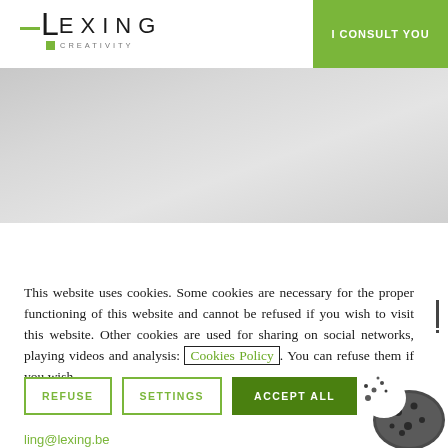[Figure (logo): Lexing Creativity logo with green dash and green square]
I CONSULT YOU
[Figure (photo): Gray gradient hero banner image]
This website uses cookies. Some cookies are necessary for the proper functioning of this website and cannot be refused if you wish to visit this website. Other cookies are used for sharing on social networks, playing videos and analysis: Cookies Policy. You can refuse them if you wish.
REFUSE
SETTINGS
ACCEPT ALL
[Figure (photo): Partially bitten dark chocolate chip cookie]
ling@lexing.be